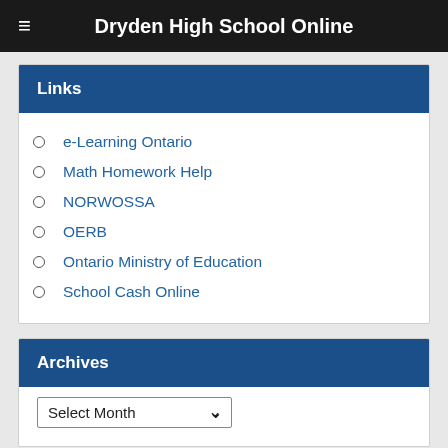Dryden High School Online
Links
e-Learning Ontario
Math Homework Help
NORWOSSA
OERB
Ontario Ministry of Education
School Cash Online
Archives
Select Month